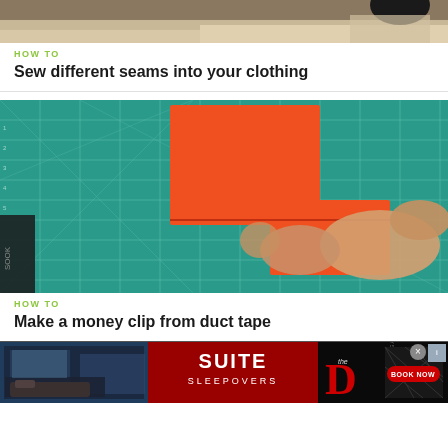[Figure (photo): Partial view of hands sewing fabric, photo cropped at top]
HOW TO
Sew different seams into your clothing
[Figure (photo): Hands working with orange pieces of duct tape on a green cutting mat grid]
HOW TO
Make a money clip from duct tape
[Figure (other): Advertisement for Suite Sleepovers at The D Las Vegas hotel with Book Now button]